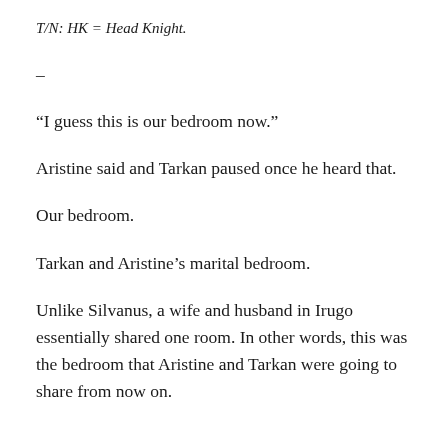T/N: HK = Head Knight.
–
“I guess this is our bedroom now.”
Aristine said and Tarkan paused once he heard that.
Our bedroom.
Tarkan and Aristine’s marital bedroom.
Unlike Silvanus, a wife and husband in Irugo essentially shared one room. In other words, this was the bedroom that Aristine and Tarkan were going to share from now on.